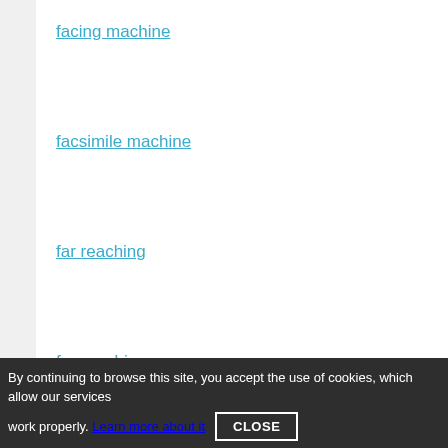facing machine
facsimile machine
far reaching
far-reaching
farreaching
fast-approaching
fax machine
fifth wheel
fighting machine
four-wheel drive
By continuing to browse this site, you accept the use of cookies, which allow our services work properly. Learn more about it CLOSE